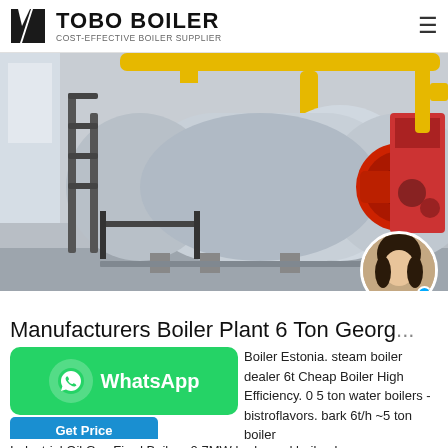TOBO BOILER — COST-EFFECTIVE BOILER SUPPLIER
[Figure (photo): Industrial fire-tube boiler with red burner attached, yellow gas pipes overhead, installed in a factory building. A chat avatar (young woman) is overlaid at bottom-right.]
Manufacturers Boiler Plant 6 Ton Georg...
Boiler Estonia. steam boiler dealer 6t Cheap Boiler High Efficiency. 0 5 ton water boilers - bistroflavors. bark 6t/h ~5 ton boiler Industrial Oil Gas Fired Boiler . 0.7MW bark used boiler. by...